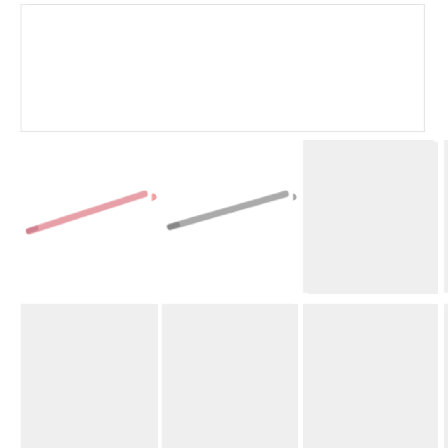[Figure (photo): Main product image area - white/empty box with border]
[Figure (photo): Thumbnail row 1: pink axle image, grey axle image, 3 empty grey placeholder boxes]
[Figure (photo): Thumbnail row 2: 4 empty grey placeholder boxes]
Burgtec Specialized Rear Axles 12mm x 172mm
$79.99
Colour